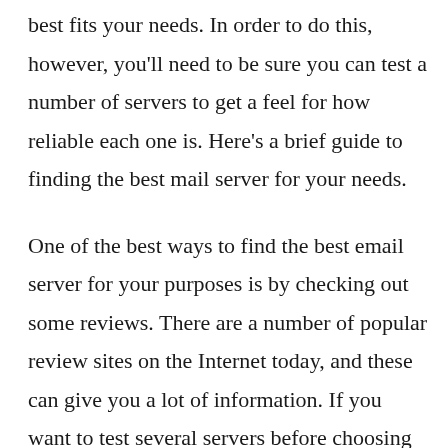best fits your needs. In order to do this, however, you'll need to be sure you can test a number of servers to get a feel for how reliable each one is. Here's a brief guide to finding the best mail server for your needs.
One of the best ways to find the best email server for your purposes is by checking out some reviews. There are a number of popular review sites on the Internet today, and these can give you a lot of information. If you want to test several servers before choosing the one